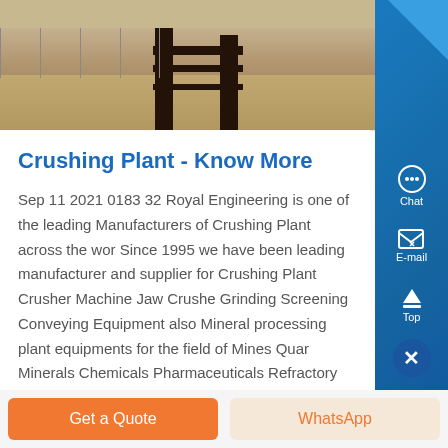[Figure (photo): Industrial crushing plant equipment viewed from ground level, showing dark metal frame structures against a sandy/concrete ground background]
Crushing Plant - Know More
Sep 11 2021 0183 32 Royal Engineering is one of the leading Manufacturers of Crushing Plant across the wor Since 1995 we have been leading manufacturer and supplier for Crushing Plant Crusher Machine Jaw Crushe Grinding Screening Conveying Equipment also Mineral processing plant equipments for the field of Mines Quar Minerals Chemicals Pharmaceuticals Refractory and...
Get a Quote
WhatsApp